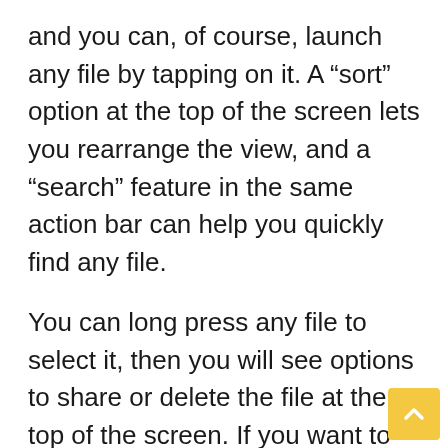and you can, of course, launch any file by tapping on it. A “sort” option at the top of the screen lets you rearrange the view, and a “search” feature in the same action bar can help you quickly find any file.
You can long press any file to select it, then you will see options to share or delete the file at the top of the screen. If you want to move a file to another location, press the three-dot menu button while the file is selected, then choose the “Copy to …” option and select the destination.
It’s certainly not as comprehensive as some of the other file browser options for Android, but it can get the job done in the blink of an eye. Wha